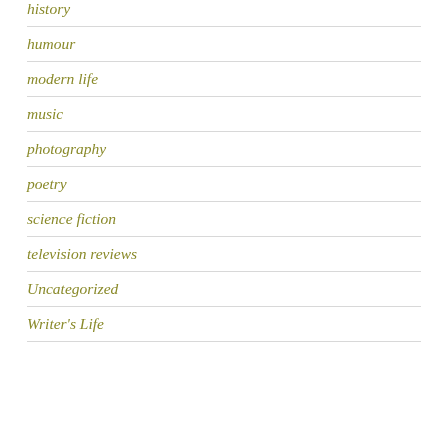history
humour
modern life
music
photography
poetry
science fiction
television reviews
Uncategorized
Writer's Life